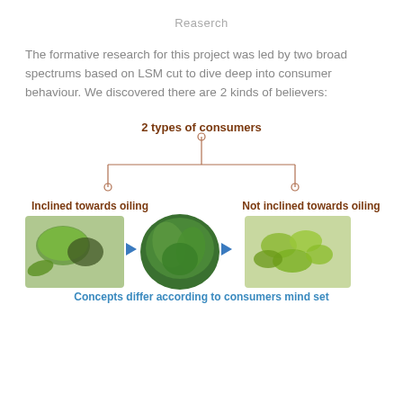Reaserch
The formative research for this project was led by two broad spectrums based on LSM cut to dive deep into consumer behaviour. We discovered there are 2 kinds of believers:
[Figure (flowchart): Diagram showing '2 types of consumers' split into two branches: 'Inclined towards oiling' on the left and 'Not inclined towards oiling' on the right, connected by a tree-line structure with circular endpoints. Below are three food images connected by blue arrows.]
Concepts differ according to consumers mind set